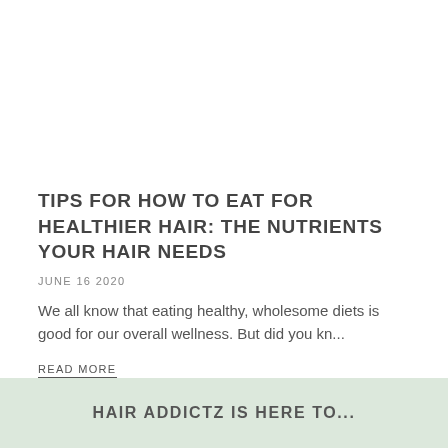[Figure (photo): Blank white image placeholder at top of article]
TIPS FOR HOW TO EAT FOR HEALTHIER HAIR: THE NUTRIENTS YOUR HAIR NEEDS
JUNE 16 2020
We all know that eating healthy, wholesome diets is good for our overall wellness. But did you kn...
READ MORE
HAIR ADDICTZ IS HERE TO...